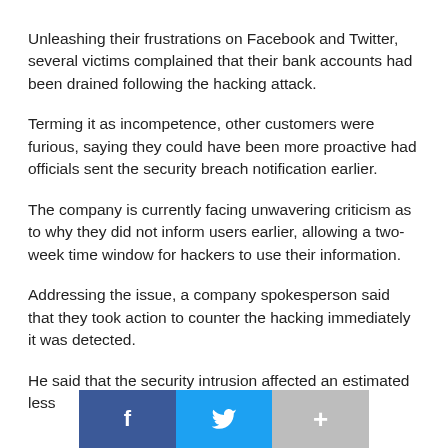Unleashing their frustrations on Facebook and Twitter, several victims complained that their bank accounts had been drained following the hacking attack.
Terming it as incompetence, other customers were furious, saying they could have been more proactive had officials sent the security breach notification earlier.
The company is currently facing unwavering criticism as to why they did not inform users earlier, allowing a two-week time window for hackers to use their information.
Addressing the issue, a company spokesperson said that they took action to counter the hacking immediately it was detected.
He said that the security intrusion affected an estimated less
[Figure (other): Social sharing buttons bar with Facebook (blue), Twitter (light blue), and a gray plus/more button]